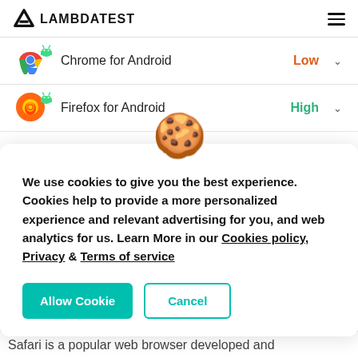LAMBDATEST
Chrome for Android — Low
Firefox for Android — High
[Figure (screenshot): Cookie consent modal with cookie emoji, text about cookies policy, Allow Cookie and Cancel buttons]
Safari is a popular web browser developed and